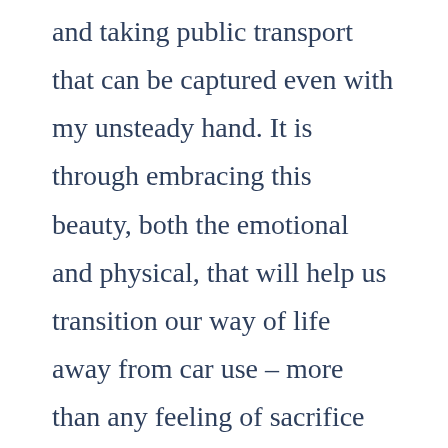and taking public transport that can be captured even with my unsteady hand. It is through embracing this beauty, both the emotional and physical, that will help us transition our way of life away from car use – more than any feeling of sacrifice for the greater good. If we truly want a cultural shift, we need to